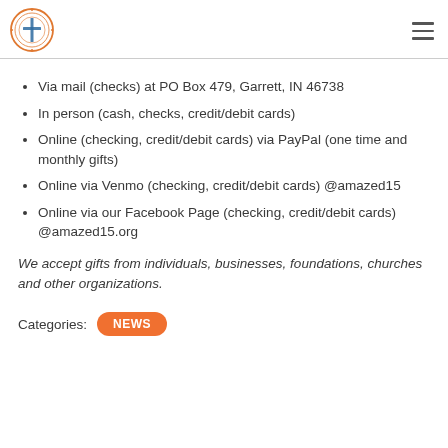[Logo] [Hamburger menu]
Via mail (checks) at PO Box 479, Garrett, IN 46738
In person (cash, checks, credit/debit cards)
Online (checking, credit/debit cards) via PayPal (one time and monthly gifts)
Online via Venmo (checking, credit/debit cards) @amazed15
Online via our Facebook Page (checking, credit/debit cards) @amazed15.org
We accept gifts from individuals, businesses, foundations, churches and other organizations.
Categories: NEWS